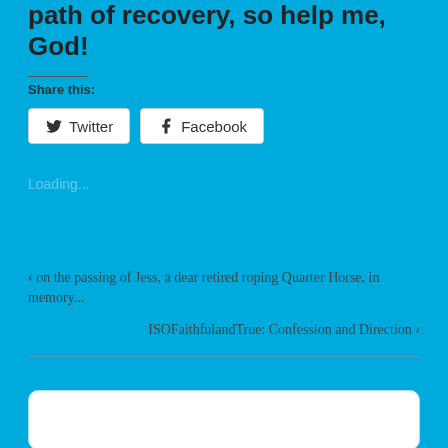path of recovery, so help me, God!
Share this:
Twitter  Facebook
Loading...
< on the passing of Jess, a dear retired roping Quarter Horse, in memory...
ISOFaithfulandTrue: Confession and Direction >